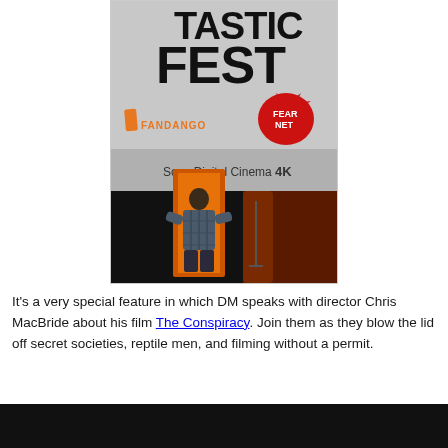[Figure (photo): A photo taken at Fantastic Fest showing a projection screen with logos including Fandango and FearNet, 'Sony Digital Cinema 4K' text, and a person standing on stage in front of an illuminated orange backdrop.]
It's a very special feature in which DM speaks with director Chris MacBride about his film The Conspiracy. Join them as they blow the lid off secret societies, reptile men, and filming without a permit.